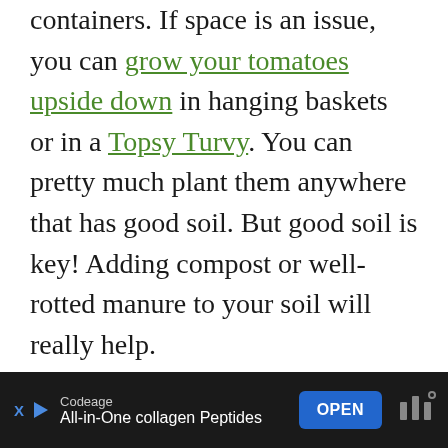containers. If space is an issue, you can grow your tomatoes upside down in hanging baskets or in a Topsy Turvy. You can pretty much plant them anywhere that has good soil. But good soil is key! Adding compost or well-rotted manure to your soil will really help.
[Figure (screenshot): Advertisement bar at bottom: Codeage brand, 'All-in-One collagen Peptides', with OPEN button and Wealthsimple logo on dark background]